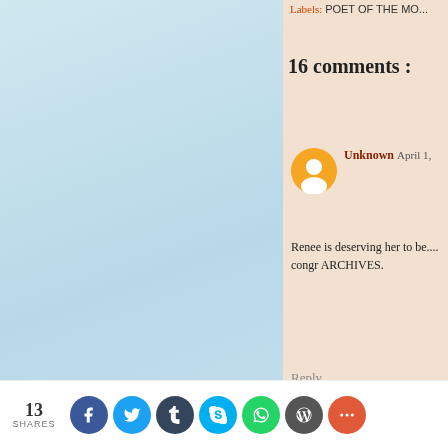[Figure (photo): Light blue gradient sky/cloud background image on the left panel]
Labels: POET OF THE MO...
16 comments :
Unknown April 1,
Renee is deserving her to be.... congr ARCHIVES.
Reply
▾ Replies
Anonymous
Thank you that heartf with Wings
Reply